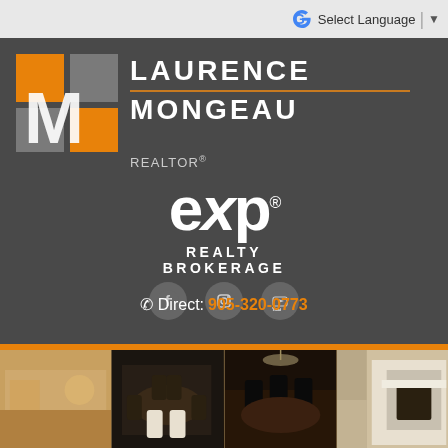Select Language
[Figure (logo): Laurence Mongeau REALTOR eXp Realty Brokerage logo on dark gray background with orange M icon]
Direct: 905-320-0773
[Figure (photo): Strip of four interior room photos showing dining rooms and living spaces]